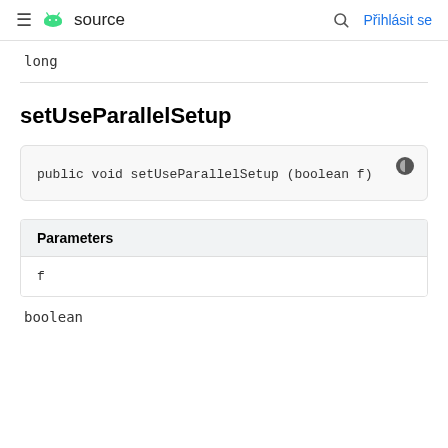≡ source | 🔍 Přihlásit se
long
setUseParallelSetup
public void setUseParallelSetup (boolean f)
| Parameters |
| --- |
| f |
boolean